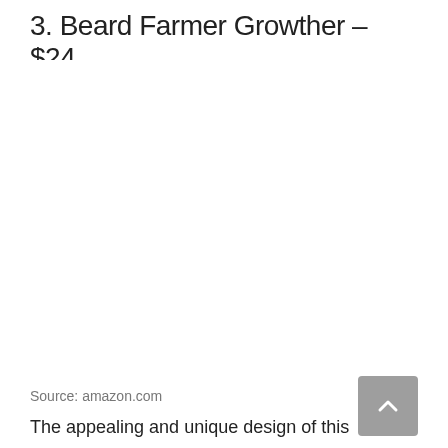3. Beard Farmer Growther – $24
[Figure (photo): Product photo area (blank/white space where image would appear)]
Source: amazon.com
The appealing and unique design of this